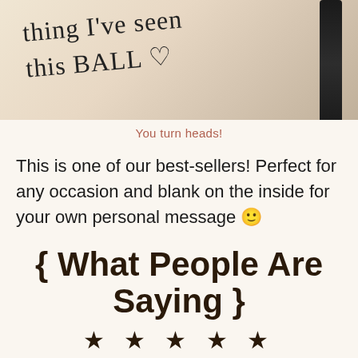[Figure (photo): Photo of a handwritten note on paper with text partially visible reading 'thing I've seen this BALL' with a heart symbol, a dark pen visible on the right side, warm beige/cream background]
You turn heads!
This is one of our best-sellers! Perfect for any occasion and blank on the inside for your own personal message 🙂
{ What People Are Saying }
★ ★ ★ ★ ★